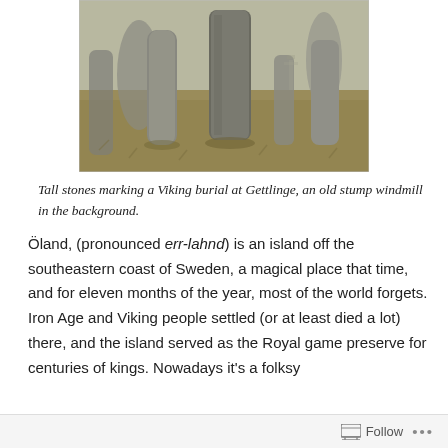[Figure (photo): Photograph of tall standing stones marking a Viking burial at Gettlinge, with an old stump windmill visible in the background. The stones are set among dry grassland.]
Tall stones marking a Viking burial at Gettlinge, an old stump windmill in the background.
Öland, (pronounced err-lahnd) is an island off the southeastern coast of Sweden, a magical place that time, and for eleven months of the year, most of the world forgets. Iron Age and Viking people settled (or at least died a lot) there, and the island served as the Royal game preserve for centuries of kings. Nowadays it's a folksy
Follow